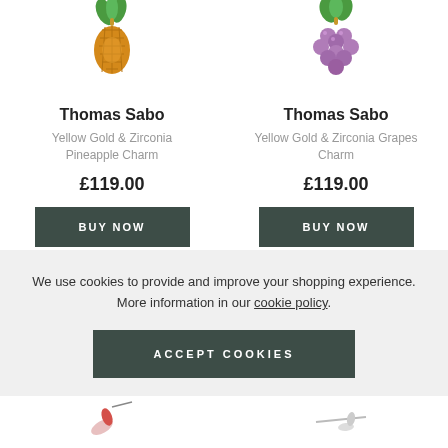[Figure (photo): Thomas Sabo Yellow Gold & Zirconia Pineapple Charm jewelry item, partially cropped at top]
[Figure (photo): Thomas Sabo Yellow Gold & Zirconia Grapes Charm jewelry item, partially cropped at top]
Thomas Sabo
Yellow Gold & Zirconia Pineapple Charm
£119.00
BUY NOW
Thomas Sabo
Yellow Gold & Zirconia Grapes Charm
£119.00
BUY NOW
We use cookies to provide and improve your shopping experience. More information in our cookie policy.
ACCEPT COOKIES
[Figure (photo): Partially visible jewelry item at bottom left]
[Figure (photo): Partially visible jewelry item at bottom right]